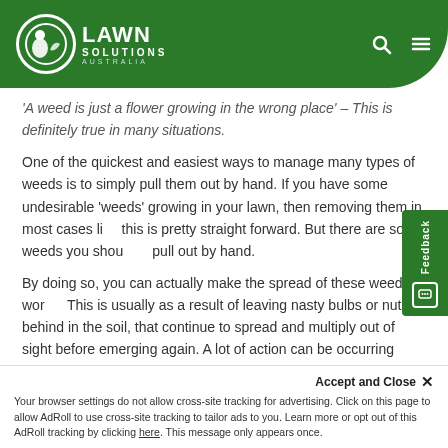Lawn Solutions Australia
'A weed is just a flower growing in the wrong place' – This is definitely true in many situations.
One of the quickest and easiest ways to manage many types of weeds is to simply pull them out by hand. If you have some undesirable 'weeds' growing in your lawn, then removing them in most cases like this is pretty straight forward. But there are some weeds you shouldn't pull out by hand.
By doing so, you can actually make the spread of these weeds worse. This is usually as a result of leaving nasty bulbs or nuts behind in the soil, that continue to spread and multiply out of sight before emerging again. A lot of action can be occurring below the ground and it's important that this is considered before going straight in there for the pull.
Accept and Close ✕
Your browser settings do not allow cross-site tracking for advertising. Click on this page to allow AdRoll to use cross-site tracking to tailor ads to you. Learn more or opt out of this AdRoll tracking by clicking here. This message only appears once.